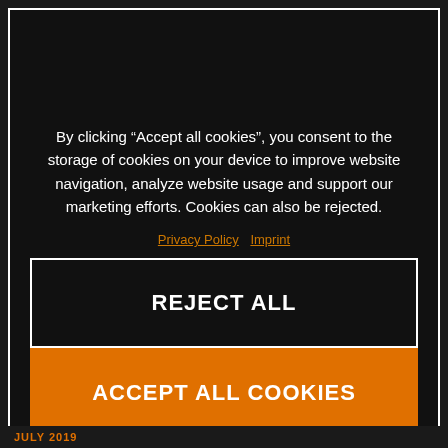By clicking “Accept all cookies”, you consent to the storage of cookies on your device to improve website navigation, analyze website usage and support our marketing efforts. Cookies can also be rejected.
Privacy Policy  Imprint
REJECT ALL
ACCEPT ALL COOKIES
JULY 2019